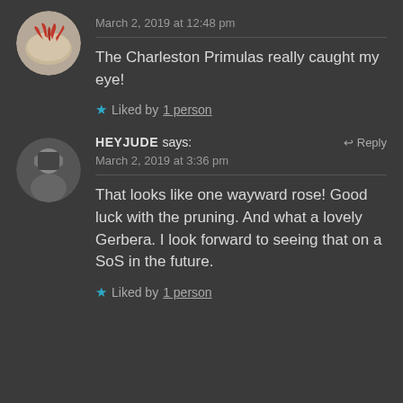[Figure (photo): Circular avatar image showing red chili peppers on a light background]
March 2, 2019 at 12:48 pm
The Charleston Primulas really caught my eye!
Liked by 1 person
[Figure (photo): Circular avatar image of a person in black and white, hiding face with hands]
HEYJUDE says:
March 2, 2019 at 3:36 pm
That looks like one wayward rose! Good luck with the pruning. And what a lovely Gerbera. I look forward to seeing that on a SoS in the future.
Liked by 1 person